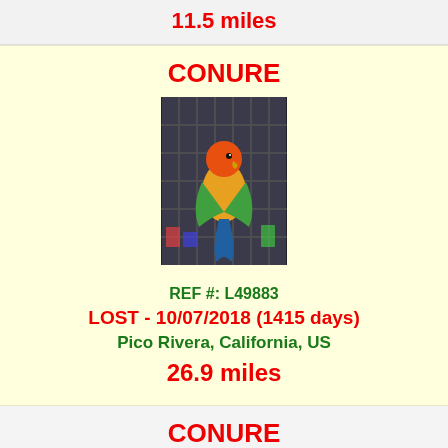11.5 miles
CONURE
[Figure (photo): Photo of a conure parrot with colorful feathers in a cage]
REF #: L49883
LOST - 10/07/2018 (1415 days)
Pico Rivera, California, US
26.9 miles
CONURE
[Figure (photo): Photo of an orange and yellow conure parrot]
REF #: L48139